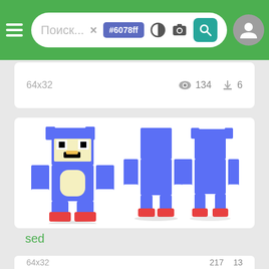Поиск... × #6078ff [icons: color, camera, search] [account icon]
64x32   👁 134  ⬇ 6
[Figure (screenshot): Minecraft skin preview showing a Sonic the Hedgehog character skin in four views (front, back/side, front-no-overlay, side). The character is blue with a pixelated face showing black eyes and mouth, yellow chest, white gloves area, and red shoes. Pixel art style.]
sed
64x32   👁 217  ⬇ 13